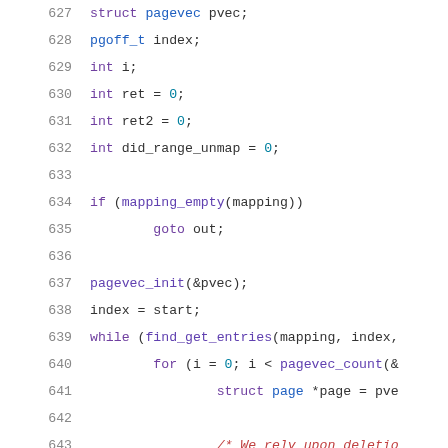Source code listing, lines 627-648, C language kernel code showing page vector operations and range unmap logic